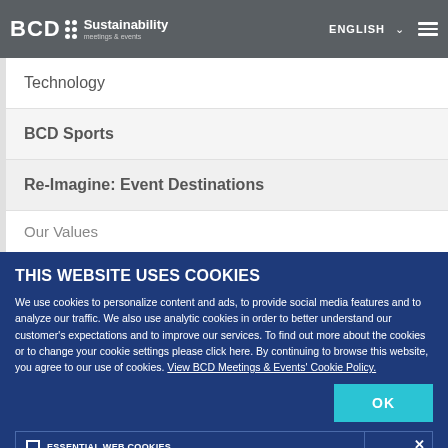BCD Sustainability meetings & events | ENGLISH
Technology
BCD Sports
Re-Imagine: Event Destinations
Our Values
THIS WEBSITE USES COOKIES
We use cookies to personalize content and ads, to provide social media features and to analyze our traffic. We also use analytic cookies in order to better understand our customer's expectations and to improve our services. To find out more about the cookies or to change your cookie settings please click here. By continuing to browse this website, you agree to our use of cookies. View BCD Meetings & Events' Cookie Policy.
ESSENTIAL WEB COOKIES
PERFORMANCE AND FUNCTIONALITY COOKIES
ANALYTICS AND CUSTOMIZATION
ADVERTISING AND SOCIAL MEDIA COOKIES